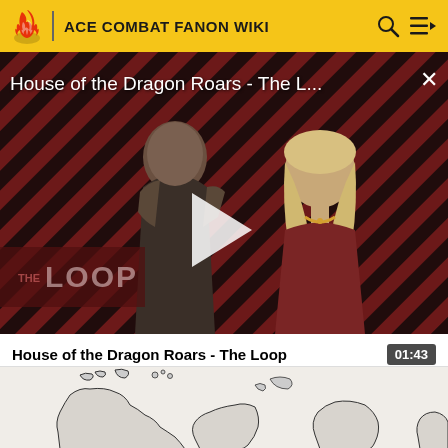ACE COMBAT FANON WIKI
[Figure (screenshot): Video thumbnail for 'House of the Dragon Roars - The L...' showing two characters from House of the Dragon on a diagonal red and black striped background with THE LOOP watermark and a play button in the center. A close button X is in the top right.]
House of the Dragon Roars - The Loop
01:43
[Figure (map): Partial map showing coastlines and islands, appears to be a fantasy or fictional world map with black outlines on white/light gray background]